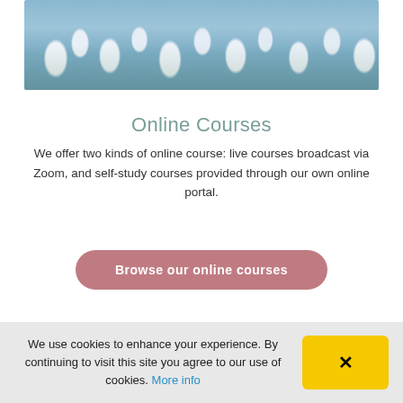[Figure (photo): Close-up photo of white snowdrop flowers with green stems against a blurred blue-grey background]
Online Courses
We offer two kinds of online course: live courses broadcast via Zoom, and self-study courses provided through our own online portal.
Browse our online courses
[Figure (photo): Partial view of a decorative image with golden/amber tones and a dark circular emblem in the center]
We use cookies to enhance your experience. By continuing to visit this site you agree to our use of cookies. More info